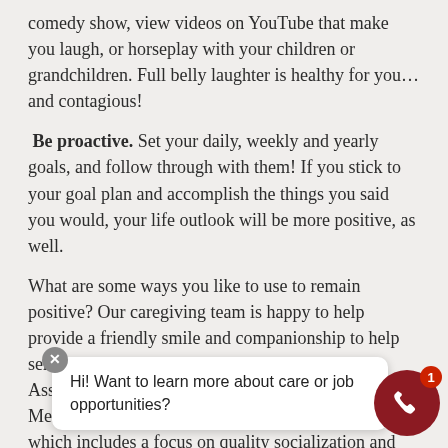comedy show, view videos on YouTube that make you laugh, or horseplay with your children or grandchildren. Full belly laughter is healthy for you… and contagious!
Be proactive. Set your daily, weekly and yearly goals, and follow through with them! If you stick to your goal plan and accomplish the things you said you would, your life outlook will be more positive, as well.
What are some ways you like to use to remain positive? Our caregiving team is happy to help provide a friendly smile and companionship to help seniors keep a positive outlook. Home Care Assistance trains caregivers on The Balanced Care Method a uniquely holistic approach to senior care which includes a focus on quality socialization and focus on helping our clients maintain a sense of purpose. M... quality of l...
Hi! Want to learn more about care or job opportunities?